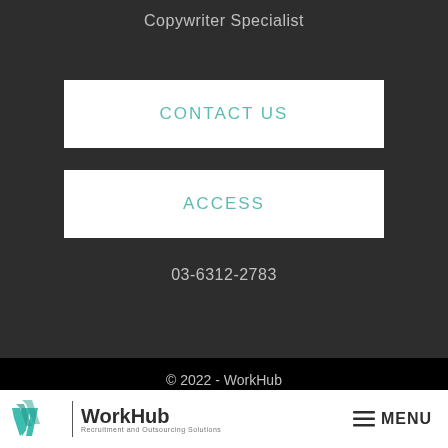Copywriter Specialist
CONTACT US
ACCESS
03-6312-2783
© 2022 - WorkHub
Terms and Conditions
WorkHub Recruitment and Outsourcing Solutions MENU